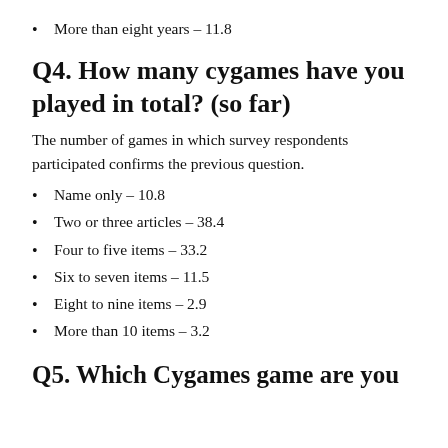More than eight years – 11.8
Q4. How many cygames have you played in total? (so far)
The number of games in which survey respondents participated confirms the previous question.
Name only – 10.8
Two or three articles – 38.4
Four to five items – 33.2
Six to seven items – 11.5
Eight to nine items – 2.9
More than 10 items – 3.2
Q5. Which Cygames game are you